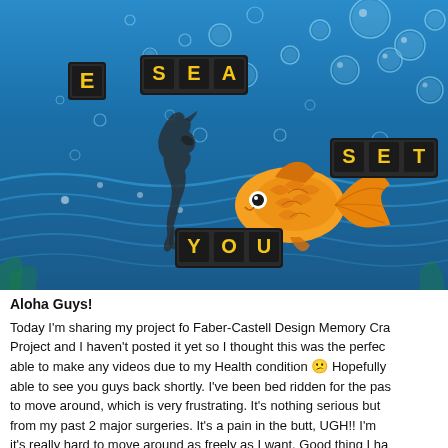[Figure (illustration): An underwater scene artwork showing a colorful goldfish, a seahorse, water bubbles, and letter tiles spelling SEA, SET, YOU on a blue wavy background.]
Aloha Guys!
Today I'm sharing my project fo Faber-Castell Design Memory Cra... Project and I haven't posted it yet so I thought this was the perfec... able to make any videos due to my Health condition 😕 Hopefully able to see you guys back shortly. I've been bed ridden for the pas... to move around, which is very frustrating. It's nothing serious but from my past 2 major surgeries. It's a pain in the butt, UGH!! I'm it's really hard to move around as freely as I want. Good thing I ha my archives, so you guys will have something to watch in the mea... and hopefully I'll see you back real soon. I want to thank some...